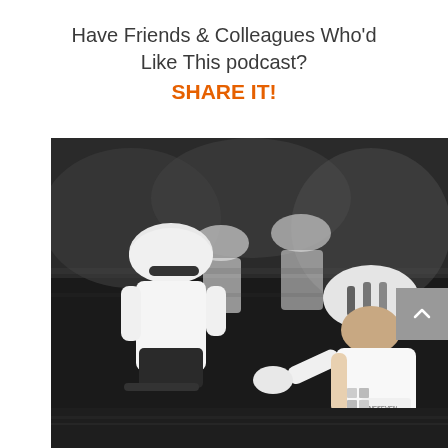Have Friends & Colleagues Who'd Like This podcast? SHARE IT!
[Figure (photo): Black and white action photo of a group of cyclists racing, wearing helmets and white jerseys. One cyclist in the foreground wears a OneSeven Cycling jersey. The image is motion-blurred, conveying speed.]